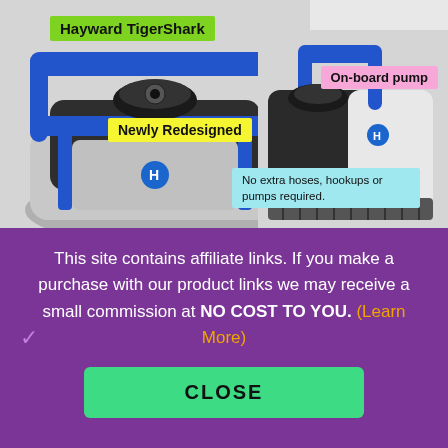[Figure (photo): Hayward TigerShark robotic pool cleaner, close-up front view showing blue handle, dark body, and Hayward logo. Labeled 'Newly Redesigned'.]
Hayward TigerShark
Newly Redesigned
[Figure (photo): Hayward TigerShark robotic pool cleaner, full side view showing white/gray body, blue handle, and brush roller. Labeled 'On-board pump' and 'No extra hoses, hookups or pumps required.']
On-board pump
No extra hoses, hookups or pumps required.
This site contains affiliate links. If you make a purchase with our product links we may receive a small commission at NO COST TO YOU. (Learn More)
CLOSE